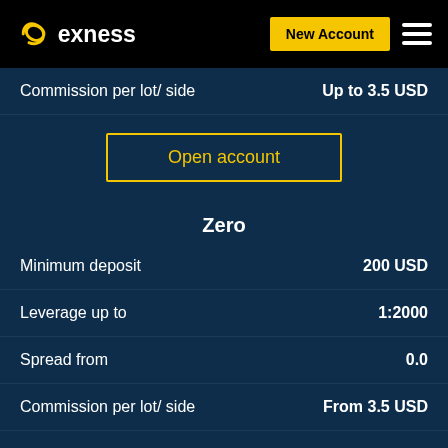[Figure (logo): Exness logo with stylized X icon in yellow and white text on black background]
New Account
Commission per lot/ side
Up to 3.5 USD
Open account
Zero
Minimum deposit
200 USD
Leverage up to
1:2000
Spread from
0.0
Commission per lot/ side
From 3.5 USD
Open account